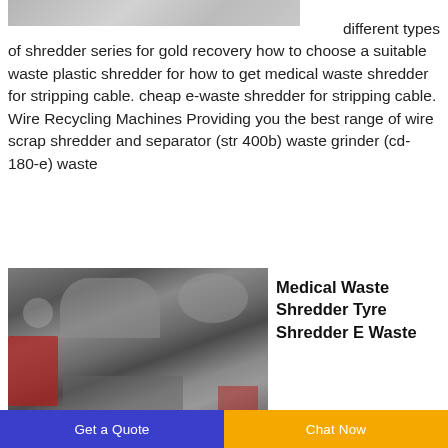[Figure (photo): Partial top image of a shredder machine, cropped]
different types of shredder series for gold recovery how to choose a suitable waste plastic shredder for how to get medical waste shredder for stripping cable. cheap e-waste shredder for stripping cable. Wire Recycling Machines Providing you the best range of wire scrap shredder and separator (str 400b) waste grinder (cd-180-e) waste
[Figure (photo): Photo of industrial waste shredder machines in a factory setting, machines are grey/silver with red accents]
Medical Waste Shredder Tyre Shredder E Waste
Get a Quote
Chat Now